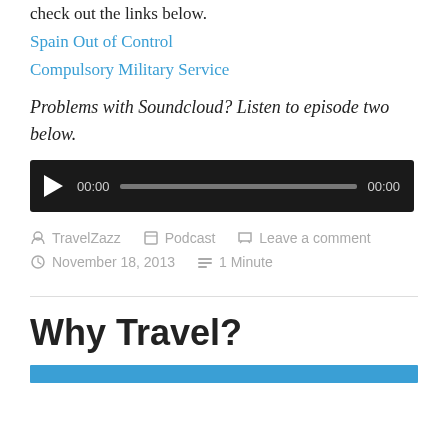check out the links below.
Spain Out of Control
Compulsory Military Service
Problems with Soundcloud? Listen to episode two below.
[Figure (other): Audio player widget with play button, progress bar showing 00:00 / 00:00]
TravelZazz  |  Podcast  |  Leave a comment
November 18, 2013  |  1 Minute
Why Travel?
[Figure (other): Blue horizontal bar at the bottom of the page]